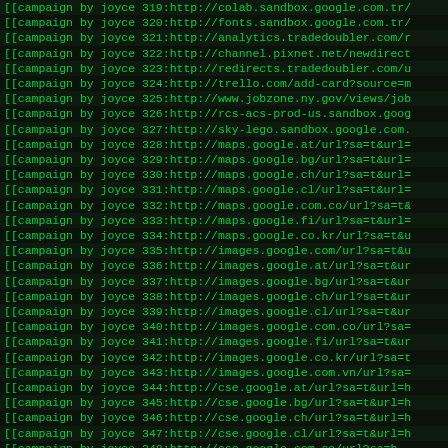[[campaign by joyce 319:http://colab.sandbox.google.com.tr/
[[campaign by joyce 320:http://fonts.sandbox.google.com.tr/
[[campaign by joyce 321:http://analytics.tradedoubler.com/r
[[campaign by joyce 322:http://channel.pixnet.net/newdirect
[[campaign by joyce 323:http://redirects.tradedoubler.com/u
[[campaign by joyce 324:http://trello.com/add-card?source=m
[[campaign by joyce 325:http://www.jobzone.ny.gov/views/job
[[campaign by joyce 326:http://rcs-acs-prod-us.sandbox.goog
[[campaign by joyce 327:http://sky-lego.sandbox.google.com.
[[campaign by joyce 328:http://maps.google.at/url?sa=t&url=
[[campaign by joyce 329:http://maps.google.bg/url?sa=t&url=
[[campaign by joyce 330:http://maps.google.ch/url?sa=t&url=
[[campaign by joyce 331:http://maps.google.cl/url?sa=t&url=
[[campaign by joyce 332:http://maps.google.com.co/url?sa=t&
[[campaign by joyce 333:http://maps.google.fi/url?sa=t&url=
[[campaign by joyce 334:http://maps.google.co.kr/url?sa=t&u
[[campaign by joyce 335:http://images.google.com/url?sa=t&u
[[campaign by joyce 336:http://images.google.at/url?sa=t&ur
[[campaign by joyce 337:http://images.google.bg/url?sa=t&ur
[[campaign by joyce 338:http://images.google.ch/url?sa=t&ur
[[campaign by joyce 339:http://images.google.cl/url?sa=t&ur
[[campaign by joyce 340:http://images.google.com.co/url?sa=
[[campaign by joyce 341:http://images.google.fi/url?sa=t&ur
[[campaign by joyce 342:http://images.google.co.kr/url?sa=t
[[campaign by joyce 343:http://images.google.com.vn/url?sa=
[[campaign by joyce 344:http://cse.google.at/url?sa=t&url=h
[[campaign by joyce 345:http://cse.google.bg/url?sa=t&url=h
[[campaign by joyce 346:http://cse.google.ch/url?sa=t&url=h
[[campaign by joyce 347:http://cse.google.cl/url?sa=t&url=h
[[campaign by joyce 348:http://cse.google.com.co/url?sa=h